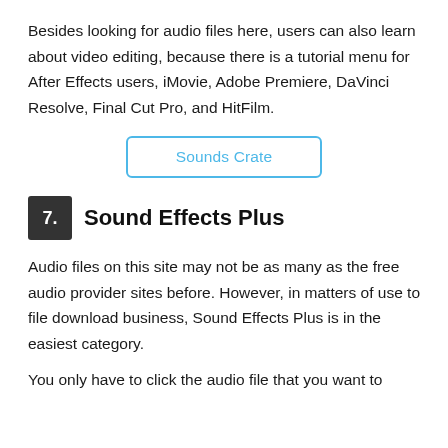Besides looking for audio files here, users can also learn about video editing, because there is a tutorial menu for After Effects users, iMovie, Adobe Premiere, DaVinci Resolve, Final Cut Pro, and HitFilm.
[Figure (other): A button/link labeled 'Sounds Crate' with a rounded rectangle border in blue]
7. Sound Effects Plus
Audio files on this site may not be as many as the free audio provider sites before. However, in matters of use to file download business, Sound Effects Plus is in the easiest category.
You only have to click the audio file that you want to